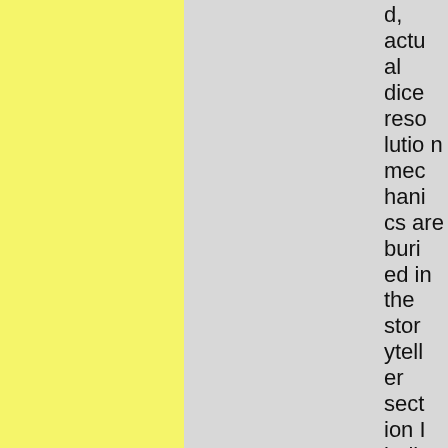d, actual dice resolution mechanics are buried in the storyteller section I believe.